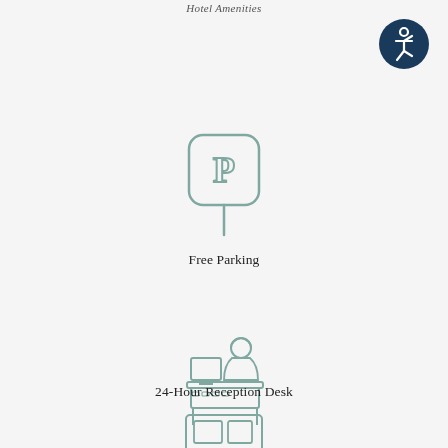Hotel Amenities
[Figure (logo): Accessibility icon: dark blue circle with white stylized person figure in wheelchair-accessible pose]
[Figure (illustration): Parking sign icon: rounded square with letter P on a pole, teal outline style]
Free Parking
[Figure (illustration): Reception desk icon: person sitting at a desk with a computer monitor, teal outline style]
24-Hour Reception Desk
[Figure (illustration): Partial icon at bottom of page, appears to be a WiFi or TV/screen related amenity icon, teal outline style]